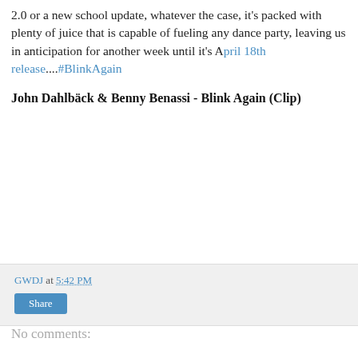2.0 or a new school update, whatever the case, it's packed with plenty of juice that is capable of fueling any dance party, leaving us in anticipation for another week until it's April 18th release....#BlinkAgain
John Dahlbäck & Benny Benassi - Blink Again (Clip)
GWDJ at 5:42 PM
Share
No comments: